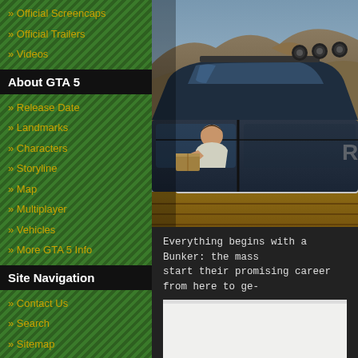» Official Screencaps
» Official Trailers
» Videos
About GTA 5
» Release Date
» Landmarks
» Characters
» Storyline
» Map
» Multiplayer
» Vehicles
» More GTA 5 Info
Site Navigation
» Contact Us
» Search
» Sitemap
» Twitter
» Facebook
[Figure (screenshot): GTA 5 screenshot showing a character sitting in a truck/SUV vehicle, viewed from the side. The vehicle has 4x4 lights on the roof rack. Background shows a rocky hillside.]
Everything begins with a Bunker: the mass start their promising career from here to ge-
[Figure (screenshot): Partial screenshot, mostly white/light background, bottom of page cut off]